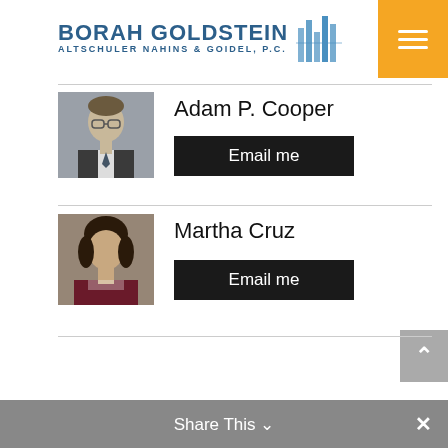[Figure (logo): Borah Goldstein Altschuler Nahins & Goidel, P.C. law firm logo with blue text and building icon]
[Figure (photo): Professional headshot of Adam P. Cooper, male attorney in suit]
Adam P. Cooper
Email me
[Figure (photo): Professional headshot of Martha Cruz, female attorney in dark jacket]
Martha Cruz
Email me
Share This